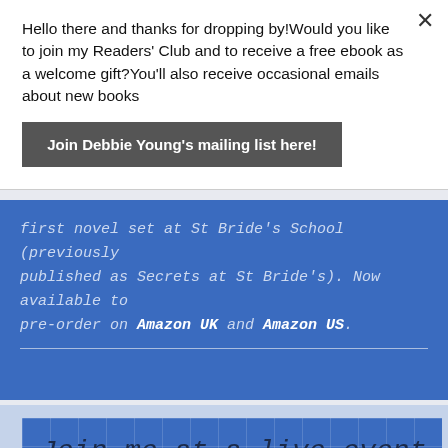Hello there and thanks for dropping by!Would you like to join my Readers' Club and to receive a free ebook as a welcome gift?You'll also receive occasional emails about new books
Join Debbie Young's mailing list here!
first novel set at St Bride's School (previously published as Secrets at St Bride's). Now available to pre-order on Amazon UK and Amazon US.
Join me at a live event
29 October 2022 Chairing the HULF Talk on The World